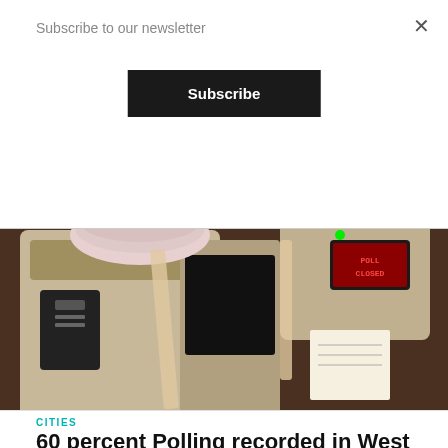Subscribe to our newsletter
Subscribe
[Figure (photo): Electronic Voting Machine (EVM) with 'POLL CLOSED' displayed on red LED screen, with paper slips stacked on top, showing ANT watermark in top-left corner]
CITIES
60 percent Polling recorded in West Bengal